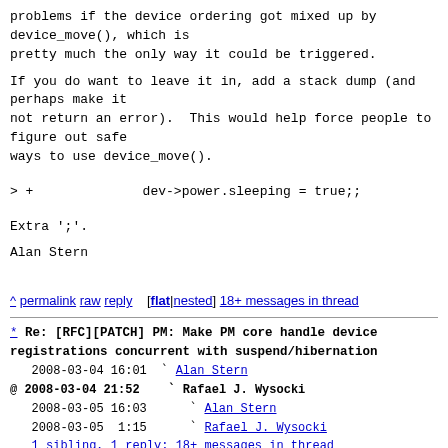problems if the device ordering got mixed up by
device_move(), which is
pretty much the only way it could be triggered.
If you do want to leave it in, add a stack dump (and
perhaps make it
not return an error).  This would help force people to
figure out safe
ways to use device_move().
> +              dev->power.sleeping = true;;
Extra ';'.
Alan Stern
^ permalink raw reply    [flat|nested] 18+ messages in thread
* Re: [RFC][PATCH] PM: Make PM core handle device registrations concurrent with suspend/hibernation
   2008-03-04 16:01  ` Alan Stern
@ 2008-03-04 21:52    ` Rafael J. Wysocki
   2008-03-05 16:03      ` Alan Stern
   2008-03-05  1:15      ` Rafael J. Wysocki
   1 sibling, 1 reply; 18+ messages in thread
From: Rafael J. Wysocki @ 2008-03-04 21:52 UTC
(permalink / raw)